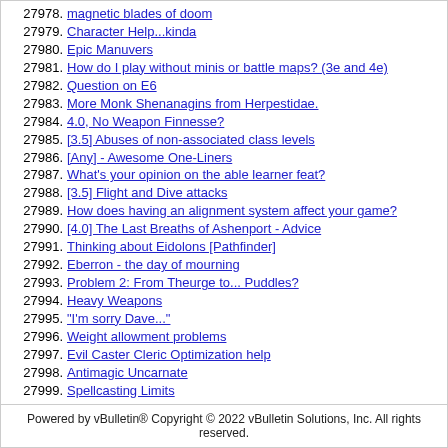27978. magnetic blades of doom
27979. Character Help...kinda
27980. Epic Manuvers
27981. How do I play without minis or battle maps? (3e and 4e)
27982. Question on E6
27983. More Monk Shenanagins from Herpestidae.
27984. 4.0, No Weapon Finnesse?
27985. [3.5] Abuses of non-associated class levels
27986. [Any] - Awesome One-Liners
27987. What's your opinion on the able learner feat?
27988. [3.5] Flight and Dive attacks
27989. How does having an alignment system affect your game?
27990. [4.0] The Last Breaths of Ashenport - Advice
27991. Thinking about Eidolons [Pathfinder]
27992. Eberron - the day of mourning
27993. Problem 2: From Theurge to... Puddles?
27994. Heavy Weapons
27995. "I'm sorry Dave..."
27996. Weight allowment problems
27997. Evil Caster Cleric Optimization help
27998. Antimagic Uncarnate
27999. Spellcasting Limits
28000. [4e] Joseph Silver's Circle Magic Fix
Powered by vBulletin® Copyright © 2022 vBulletin Solutions, Inc. All rights reserved.